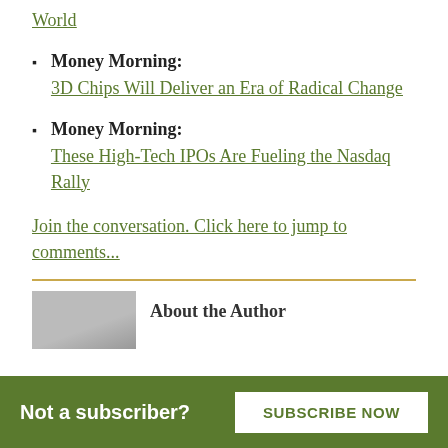World
Money Morning: 3D Chips Will Deliver an Era of Radical Change
Money Morning: These High-Tech IPOs Are Fueling the Nasdaq Rally
Join the conversation. Click here to jump to comments...
About the Author
Not a subscriber?
SUBSCRIBE NOW